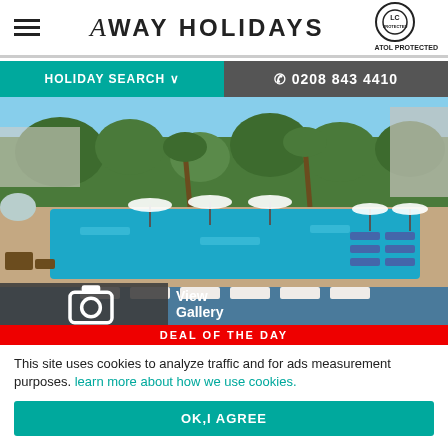Away Holidays — ATOL Protected
HOLIDAY SEARCH ∨
☎ 0208 843 4410
[Figure (photo): Hotel swimming pool with sun loungers and umbrellas surrounded by tropical trees]
View Gallery
DEAL OF THE DAY
This site uses cookies to analyze traffic and for ads measurement purposes. learn more about how we use cookies.
OK,I AGREE